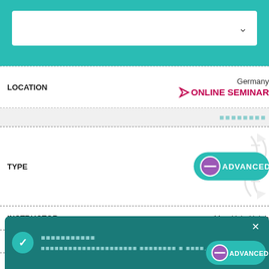[Figure (screenshot): Top teal navigation bar with white dropdown selector and chevron arrow]
LOCATION
Germany
ONLINE SEMINAR
placeholder text (teal squares)
TYPE
[Figure (logo): Advanced DNA badge - teal rounded rectangle with DNA icon and circle symbol, text: ADVANCED DNA]
INSTRUCTOR
Man Hsiu Hsieh
DATES
September 5 - 7, 2022
LOCATION
Taiwan, Republic of China
ONLINE SEMINAR
placeholder text (teal squares)
[Figure (screenshot): Teal toast notification with checkmark, placeholder text in teal squares, and X close button]
T
[Figure (logo): Advanced DNA badge partial - bottom of page]